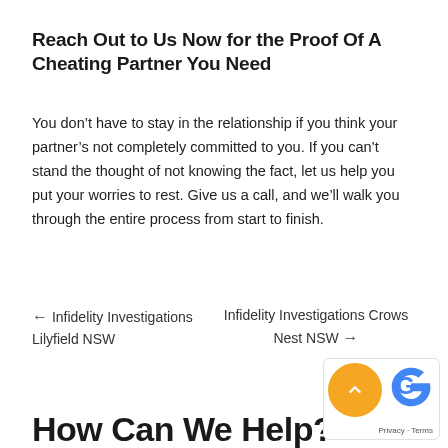Reach Out to Us Now for the Proof Of A Cheating Partner You Need
You don’t have to stay in the relationship if you think your partner’s not completely committed to you. If you can’t stand the thought of not knowing the fact, let us help you put your worries to rest. Give us a call, and we’ll walk you through the entire process from start to finish.
← Infidelity Investigations Lilyfield NSW
Infidelity Investigations Crows Nest NSW →
How Can We Help?